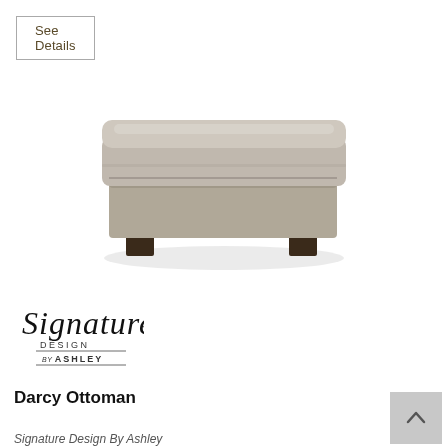See Details
[Figure (illustration): A light grey leather ottoman with dark brown wooden legs, viewed from a slight angle above. The ottoman has a padded top cushion and a rectangular base.]
[Figure (logo): Signature Design by Ashley logo — cursive 'Signature' text above 'DESIGN by ASHLEY' in small caps]
Darcy Ottoman
Signature Design By Ashley